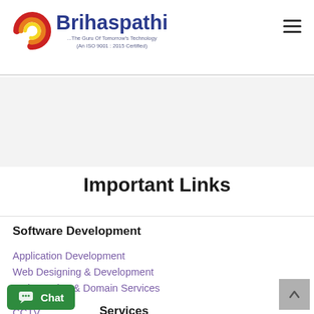[Figure (logo): Brihaspathi logo with concentric red/orange/yellow circle arcs and blue text. Tagline: '...The Guru Of Tomorrow's Technology (An ISO 9001 : 2015 Certified)']
Important Links
Software Development
Application Development
Web Designing & Development
Web Hosting & Domain Services
Services
CCTV